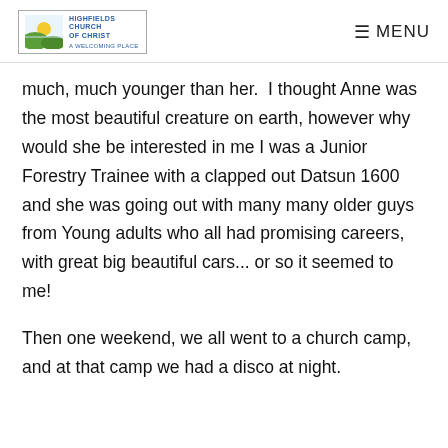Highfields Church of Christ — A Welcoming Place | MENU
much, much younger than her.  I thought Anne was the most beautiful creature on earth, however why would she be interested in me I was a Junior Forestry Trainee with a clapped out Datsun 1600 and she was going out with many many older guys from Young adults who all had promising careers, with great big beautiful cars... or so it seemed to me!
Then one weekend, we all went to a church camp, and at that camp we had a disco at night.